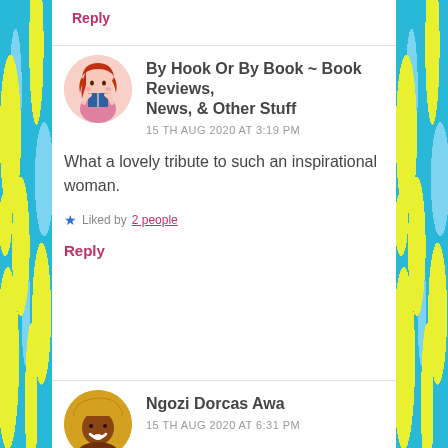Reply
By Hook Or By Book ~ Book Reviews, News, & Other Stuff
15TH AUG 2020 AT 3:19 PM
What a lovely tribute to such an inspirational woman.
Liked by 2 people
Reply
Ngozi Dorcas Awa
15TH AUG 2020 AT 6:31 PM